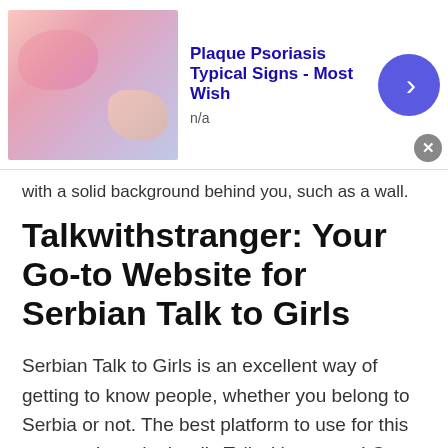[Figure (screenshot): Top advertisement banner: thumbnail image of skin condition, title 'Plaque Psoriasis Typical Signs - Most Wish', subtitle 'n/a', blue circle arrow button, gray close button]
with a solid background behind you, such as a wall.
Talkwithstranger: Your Go-to Website for Serbian Talk to Girls
Serbian Talk to Girls is an excellent way of getting to know people, whether you belong to Serbia or not. The best platform to use for this purpose is undoubtedly Talkwithstranger! Our website allows you to communicate with people from any part of the world.
[Figure (screenshot): Bottom advertisement banner: thumbnail image of skin condition, title 'Plaque Psoriasis Typical Signs - Most Wish', subtitle 'n/a', dark blue circle arrow button, gray close button]